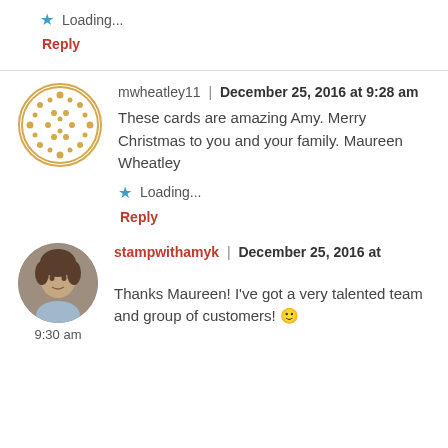★ Loading...
Reply
mwheatley11 | December 25, 2016 at 9:28 am
These cards are amazing Amy. Merry Christmas to you and your family. Maureen Wheatley
★ Loading...
Reply
stampwithamyk | December 25, 2016 at 9:30 am
Thanks Maureen! I've got a very talented team and group of customers! 🙂